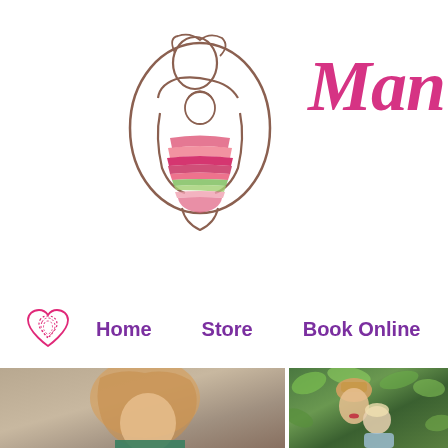[Figure (logo): Line illustration of a person carrying a baby in a colorful wrap/sling carrier, forming a heart shape. The wrap has pink, red, green, and white stripes.]
Man
[Figure (illustration): Pink hand-drawn heart icon used as navigation logo]
Home
Store
Book Online
[Figure (photo): Photo of a young woman with long wavy blonde hair looking downward, against a stone wall background]
[Figure (photo): Photo of a woman with short blonde hair wearing a hat, kissing or nuzzling a baby/toddler, against a green leafy background]